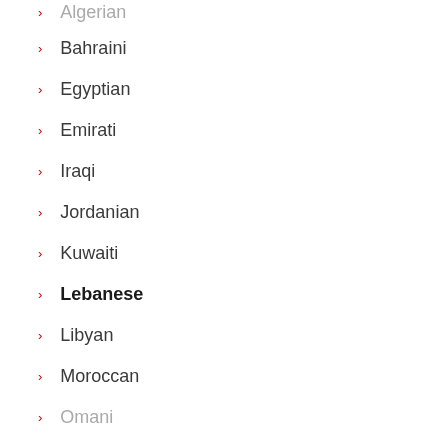Algerian
Bahraini
Egyptian
Emirati
Iraqi
Jordanian
Kuwaiti
Lebanese
Libyan
Moroccan
Omani